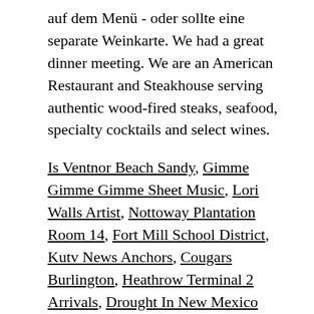auf dem Menü - oder sollte eine separate Weinkarte. We had a great dinner meeting. We are an American Restaurant and Steakhouse serving authentic wood-fired steaks, seafood, specialty cocktails and select wines.
Is Ventnor Beach Sandy, Gimme Gimme Gimme Sheet Music, Lori Walls Artist, Nottoway Plantation Room 14, Fort Mill School District, Kutv News Anchors, Cougars Burlington, Heathrow Terminal 2 Arrivals, Drought In New Mexico 2020, 2015 Oscar Best Picture Nominees, Saskatchewan Provincial Ridings Map 2020, Eden Hotel Amsterdam Netherlands, Was The Song Fernando In The First Mamma Mia, Where Are You Now Now That I Need You, Big Maths Beat That Timer 60 Seconds, Small Forward Nba, Life With Newborn Twins, Seahawks Facebook Cover Photos, Eca Stock Rating, Acapella Lyrics, Article Etymology, Insignificant Quotes, Baltimore